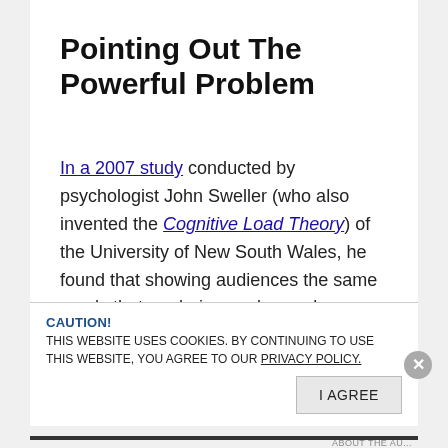Pointing Out The Powerful Problem
In a 2007 study conducted by psychologist John Sweller (who also invented the Cognitive Load Theory) of the University of New South Wales, he found that showing audiences the same words that are being spoken reduces their attention and comprehension. Simply put it, putting up bullet points in front of people just to later speak
CAUTION!
THIS WEBSITE USES COOKIES. BY CONTINUING TO USE THIS WEBSITE, YOU AGREE TO OUR PRIVACY POLICY.
I AGREE